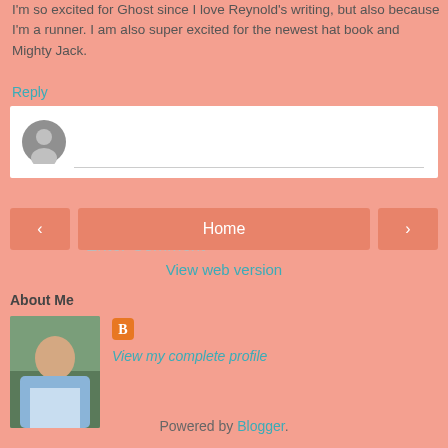I'm so excited for Ghost since I love Reynold's writing, but also because I'm a runner. I am also super excited for the newest hat book and Mighty Jack.
Reply
[Figure (screenshot): Enter Comment input box with user avatar icon]
[Figure (infographic): Navigation bar with left arrow, Home button, and right arrow]
View web version
About Me
[Figure (photo): Profile photo of Michele Knott, a woman sitting outdoors in a light blue jacket]
Michele Knott
View my complete profile
Powered by Blogger.